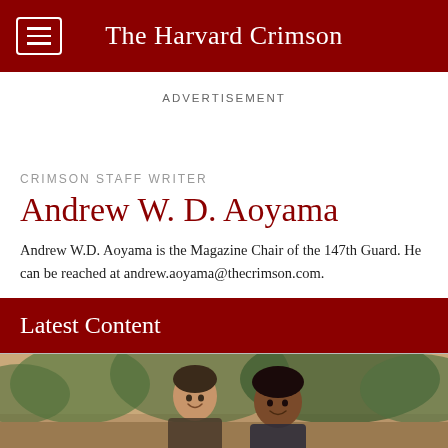The Harvard Crimson
ADVERTISEMENT
CRIMSON STAFF WRITER
Andrew W. D. Aoyama
Andrew W.D. Aoyama is the Magazine Chair of the 147th Guard. He can be reached at andrew.aoyama@thecrimson.com.
Latest Content
[Figure (photo): Photo of two people smiling outdoors with trees in the background]